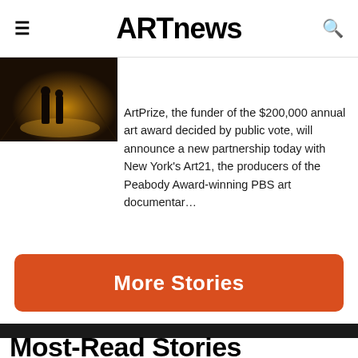ARTnews
[Figure (photo): Dark photograph showing two silhouetted figures standing in a warmly lit interior space with golden/amber tones]
ArtPrize, the funder of the $200,000 annual art award decided by public vote, will announce a new partnership today with New York's Art21, the producers of the Peabody Award-winning PBS art documentar…
More Stories
Most-Read Stories